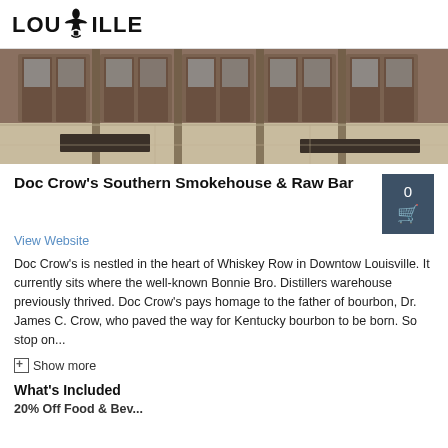LOUISVILLE
[Figure (photo): Exterior photo of Doc Crow's Southern Smokehouse & Raw Bar showing wooden double doors and storefront on Whiskey Row in Downtown Louisville]
Doc Crow's Southern Smokehouse & Raw Bar
View Website
Doc Crow's is nestled in the heart of Whiskey Row in Downtown Louisville. It currently sits where the well-known Bonnie Bro. Distillers warehouse previously thrived. Doc Crow's pays homage to the father of bourbon, Dr. James C. Crow, who paved the way for Kentucky bourbon to be born. So stop on...
Show more
What's Included
20% Off Food & Bev...